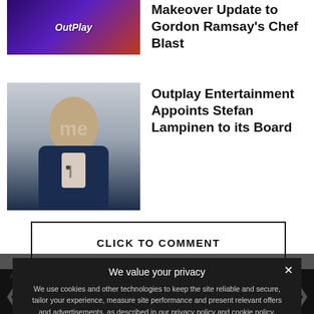[Figure (photo): Outplay Entertainment logo thumbnail - purple/red gradient background with italic white logo text]
Makeover Update to Gordon Ramsay's Chef Blast
[Figure (photo): Photo of Stefan Lampinen - man in dark suit jacket with microphone, grey background]
Outplay Entertainment Appoints Stefan Lampinen to its Board
CLICK TO COMMENT
ALSO ON EUROPEAN GAMING MEDIA AND EVENTS
We value your privacy
We use cookies and other technologies to keep the site reliable and secure, tailor your experience, measure site performance and present relevant offers and advertisements, as described in our privacy policy and cookie policy.
❯ Privacy Preferences
I Agree
NRM add experienced Product ...
ng industry recognition: hree SBC...